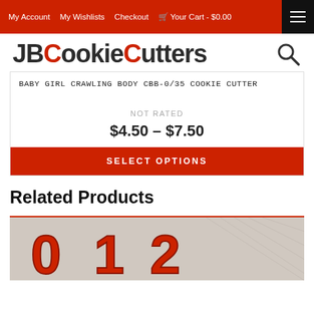My Account  My Wishlists  Checkout  Your Cart - $0.00
[Figure (logo): JBCookieCutters logo with red C and C letters, and a search icon]
Baby Girl Crawling Body CBB-0/35 Cookie Cutter
NOT RATED
$4.50 – $7.50
SELECT OPTIONS
Related Products
[Figure (photo): Photo of red 3D printed number cookie cutters (0, 1, 2) on a grid background]